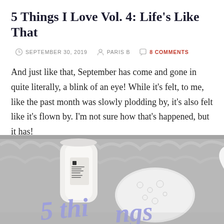5 Things I Love Vol. 4: Life's Like That
SEPTEMBER 30, 2019  PARIS B  8 COMMENTS
And just like that, September has come and gone in quite literally, a blink of an eye! While it's felt, to me, like the past month was slowly plodding by, it's also felt like it's flown by. I'm not sure how that's happened, but it has!
[Figure (photo): Grayscale flat-lay photo of Jo Malone skincare tube and heart-shaped dish on furry background, with '5 things' text overlay in lavender script]